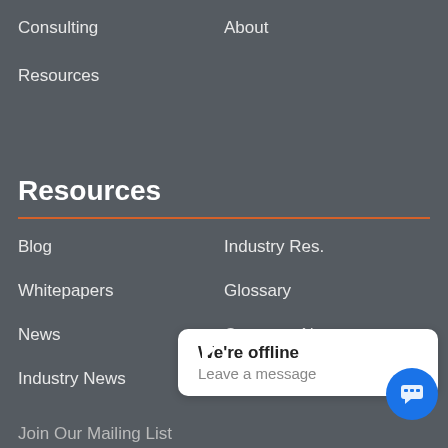Consulting
About
Resources
Resources
Blog
Industry Res.
Whitepapers
Glossary
News
Company News
Industry News
Events
We're offline
Leave a message
Join Our Mailing List